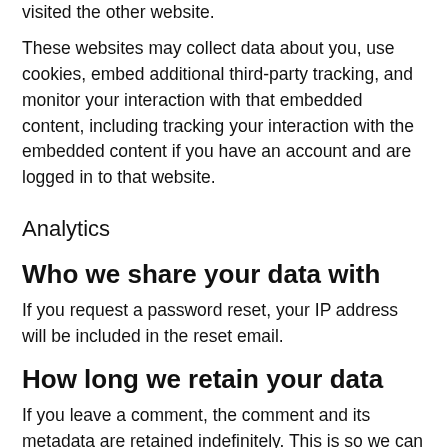visited the other website.
These websites may collect data about you, use cookies, embed additional third-party tracking, and monitor your interaction with that embedded content, including tracking your interaction with the embedded content if you have an account and are logged in to that website.
Analytics
Who we share your data with
If you request a password reset, your IP address will be included in the reset email.
How long we retain your data
If you leave a comment, the comment and its metadata are retained indefinitely. This is so we can recognize and approve any follow-up comments automatically instead of holding them